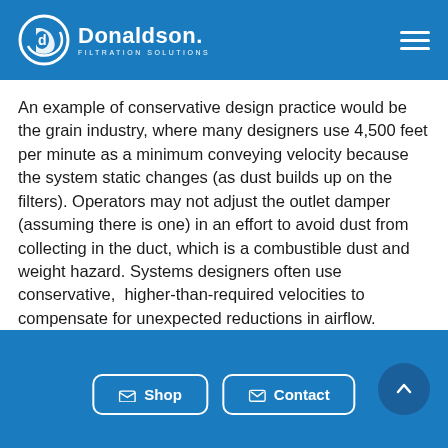Donaldson Filtration Solutions
An example of conservative design practice would be the grain industry, where many designers use 4,500 feet per minute as a minimum conveying velocity because the system static changes (as dust builds up on the filters). Operators may not adjust the outlet damper (assuming there is one) in an effort to avoid dust from collecting in the duct, which is a combustible dust and weight hazard. Systems designers often use conservative,  higher-than-required velocities to compensate for unexpected reductions in airflow.
Shop | Contact